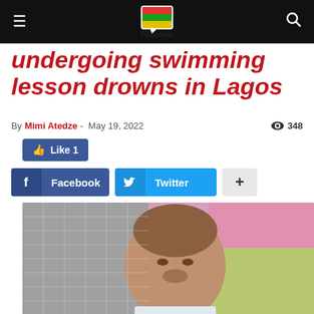Fabmimi - Navigation bar with logo
undergoing swimming lesson drowns in Lagos
By Mimi Atedze - May 19, 2022  348 views
Like 1
Facebook  Twitter  +
[Figure (photo): Portrait photo of a young child against a patterned background]